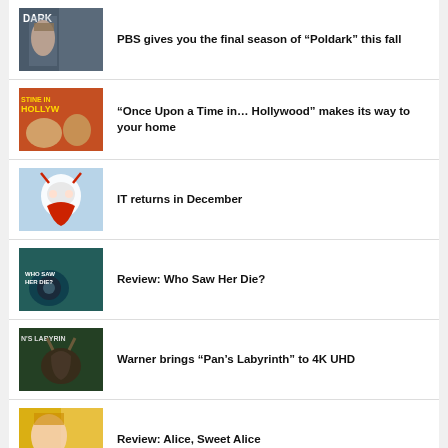PBS gives you the final season of “Poldark” this fall
“Once Upon a Time in… Hollywood” makes its way to your home
IT returns in December
Review: Who Saw Her Die?
Warner brings “Pan’s Labyrinth” to 4K UHD
Review: Alice, Sweet Alice